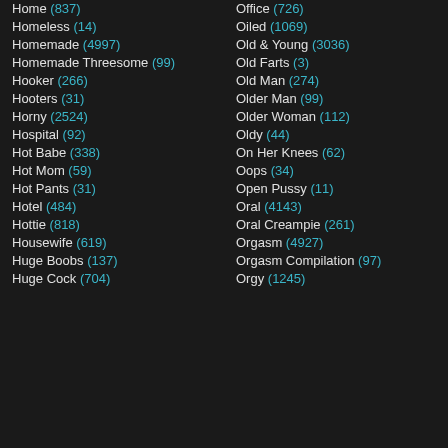Home (837)
Homeless (14)
Homemade (4997)
Homemade Threesome (99)
Hooker (266)
Hooters (31)
Horny (2524)
Hospital (92)
Hot Babe (338)
Hot Mom (59)
Hot Pants (31)
Hotel (484)
Hottie (818)
Housewife (619)
Huge Boobs (137)
Huge Cock (704)
Office (726)
Oiled (1069)
Old & Young (3036)
Old Farts (3)
Old Man (274)
Older Man (99)
Older Woman (112)
Oldy (44)
On Her Knees (62)
Oops (34)
Open Pussy (11)
Oral (4143)
Oral Creampie (261)
Orgasm (4927)
Orgasm Compilation (97)
Orgy (1245)